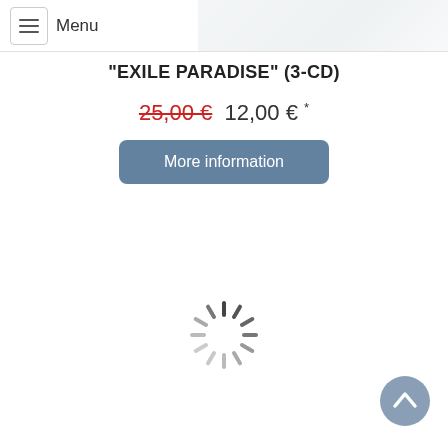Menu
[Figure (photo): Partial product image in grey/blue tones at top right]
"EXILE PARADISE" (3-CD)
25,00 € 12,00 € *
More information
[Figure (other): Loading spinner icon]
[Figure (other): Scroll to top button (chevron up arrow)]